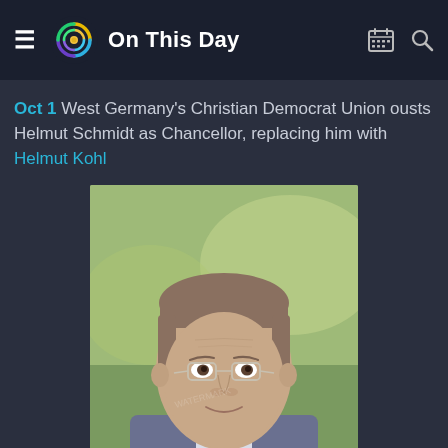On This Day
Oct 1 West Germany's Christian Democrat Union ousts Helmut Schmidt as Chancellor, replacing him with Helmut Kohl
[Figure (photo): Portrait photograph of Helmut Kohl, a middle-aged man with short hair and glasses, wearing a suit and tie, with a blurred outdoor background]
German Chancellor